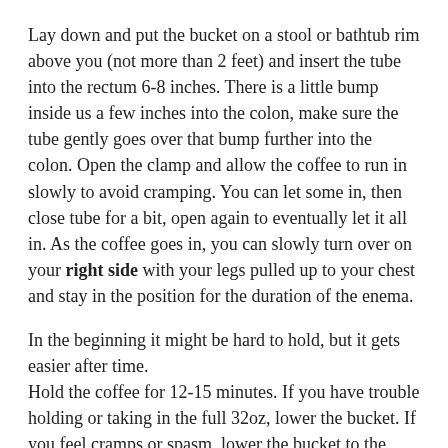Lay down and put the bucket on a stool or bathtub rim above you (not more than 2 feet) and insert the tube into the rectum 6-8 inches. There is a little bump inside us a few inches into the colon, make sure the tube gently goes over that bump further into the colon. Open the clamp and allow the coffee to run in slowly to avoid cramping. You can let some in, then close tube for a bit, open again to eventually let it all in. As the coffee goes in, you can slowly turn over on your right side with your legs pulled up to your chest and stay in the position for the duration of the enema.
In the beginning it might be hard to hold, but it gets easier after time. Hold the coffee for 12-15 minutes. If you have trouble holding or taking in the full 32oz, lower the bucket. If you feel cramps or spasm, lower the bucket to the floor to allow the flow to back up a bit to relieve pressure. After a few seconds, slowly start raising the bucket back up to the